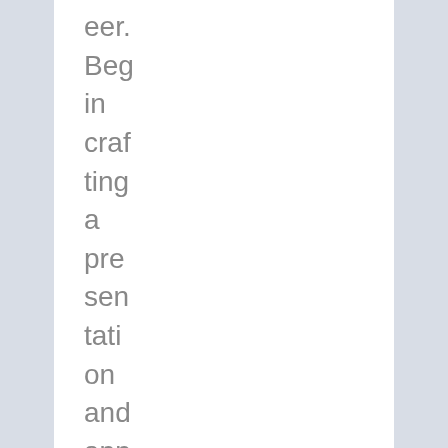eer. Begin crafting a presentation and approaching the necess ary